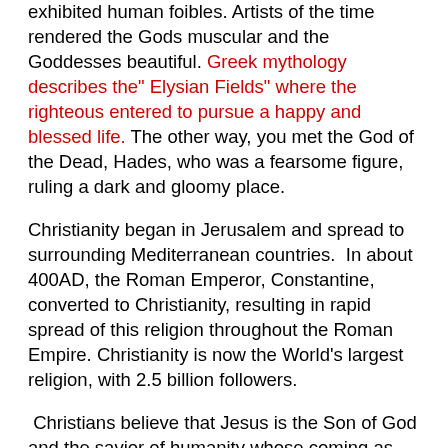exhibited human foibles. Artists of the time rendered the Gods muscular and the Goddesses beautiful. Greek mythology describes the" Elysian Fields" where the righteous entered to pursue a happy and blessed life. The other way, you met the God of the Dead, Hades, who was a fearsome figure, ruling a dark and gloomy place.
Christianity began in Jerusalem and spread to surrounding Mediterranean countries. In about 400AD, the Roman Emperor, Constantine, converted to Christianity, resulting in rapid spread of this religion throughout the Roman Empire. Christianity is now the World's largest religion, with 2.5 billion followers.
Christians believe that Jesus is the Son of God and the savior of humanity whose coming as the Messiah (the Christ) was prophesied in the Old Testament.
Christians believe God created the world in six days, resting on the seventh. They believe man is His most prized creation.
Jesus Christ is God's Son and the only way to salvation and forgiveness of sins. Christians believe he was sent to earth